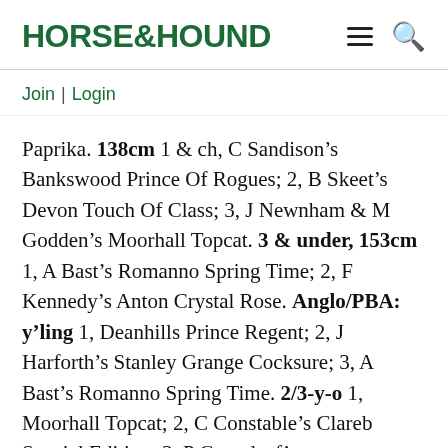HORSE&HOUND
Join | Login
Paprika. 138cm 1 & ch, C Sandison's Bankswood Prince Of Rogues; 2, B Skeet's Devon Touch Of Class; 3, J Newnham & M Godden's Moorhall Topcat. 3 & under, 153cm 1, A Bast's Romanno Spring Time; 2, F Kennedy's Anton Crystal Rose. Anglo/PBA: y'ling 1, Deanhills Prince Regent; 2, J Harforth's Stanley Grange Cocksure; 3, A Bast's Romanno Spring Time. 2/3-y-o 1, Moorhall Topcat; 2, C Constable's Clareb Special Edition; 3, P Greenleaf's